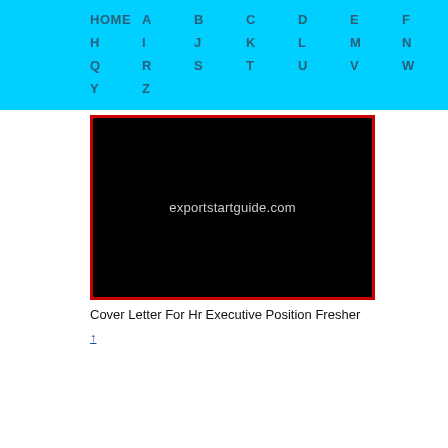HOME  A  B  C  D  E  F  G  H  I  J  K  L  M  N  O  P  Q  R  S  T  U  V  W  X  Y  Z
[Figure (screenshot): Black rectangle with red border showing text 'exportstartguide.com' in grey/white letters on black background]
Cover Letter For Hr Executive Position Fresher
↑